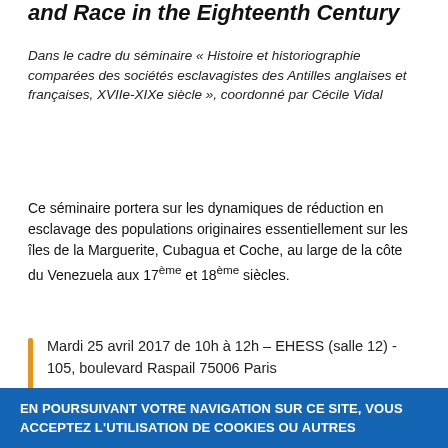and Race in the Eighteenth Century
Dans le cadre du séminaire « Histoire et historiographie comparées des sociétés esclavagistes des Antilles anglaises et françaises, XVIIe-XIXe siècle », coordonné par Cécile Vidal
Ce séminaire portera sur les dynamiques de réduction en esclavage des populations originaires essentiellement sur les îles de la Marguerite, Cubagua et Coche, au large de la côte du Venezuela aux 17ème et 18ème siècles.
Mardi 25 avril 2017 de 10h à 12h – EHESS (salle 12) - 105, boulevard Raspail 75006 Paris
The Masters of Margarita: Indigenous labor and Atlantic Slavery on a Small Island, 1500-1600
EN POURSUIVANT VOTRE NAVIGATION SUR CE SITE, VOUS ACCEPTEZ L'UTILISATION DE COOKIES OU AUTRES